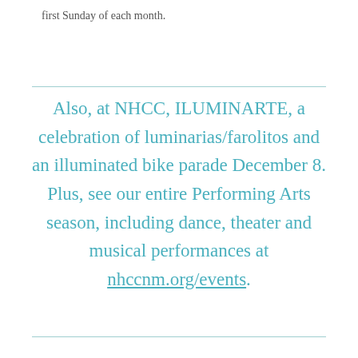first Sunday of each month.
Also, at NHCC, ILUMINARTE, a celebration of luminarias/farolitos and an illuminated bike parade December 8. Plus, see our entire Performing Arts season, including dance, theater and musical performances at nhccnm.org/events.